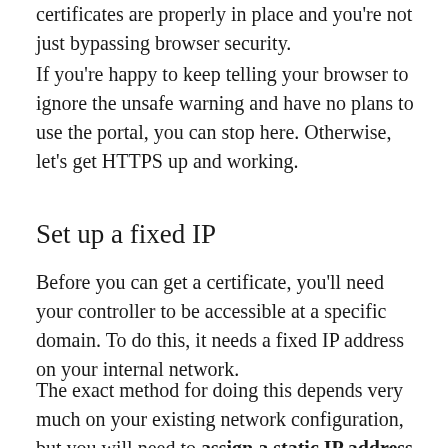certificates are properly in place and you're not just bypassing browser security.
If you're happy to keep telling your browser to ignore the unsafe warning and have no plans to use the portal, you can stop here. Otherwise, let's get HTTPS up and working.
Set up a fixed IP
Before you can get a certificate, you'll need your controller to be accessible at a specific domain. To do this, it needs a fixed IP address on your internal network.
The exact method for doing this depends very much on your existing network configuration, but you will need to assign a static IP address